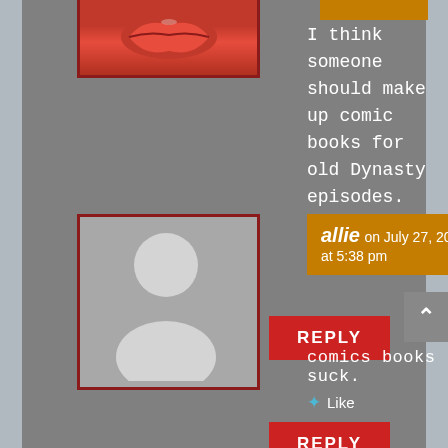[Figure (photo): Partial avatar image at top with red lips graphic]
I think someone should make up comic books for old Dynasty episodes.
Like
REPLY
[Figure (illustration): Default person silhouette avatar for user allie]
allie on July 27, 2008 at 5:38 pm
comics books suck.
Like
REPLY
[Figure (illustration): Partial default person silhouette avatar for user Carina (cut off at bottom)]
Carina on July 27,